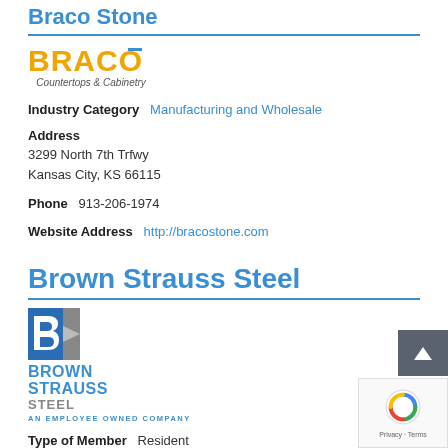Braco Stone
[Figure (logo): BRACO Countertops & Cabinetry logo with orange bold text and blue accent bar over the A]
Industry Category   Manufacturing and Wholesale
Address
3299 North 7th Trfwy
Kansas City, KS 66115
Phone   913-206-1974
Website Address   http://bracostone.com
Brown Strauss Steel
[Figure (logo): Brown Strauss Steel logo with blue and grey angular B icon and bold blue/grey text, AN EMPLOYEE OWNED COMPANY]
Type of Member   Resident